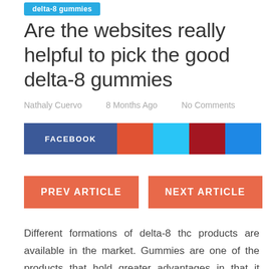delta-8 gummies
Are the websites really helpful to pick the good delta-8 gummies
Nathaly Cuervo   8 Months Ago   No Comments
[Figure (infographic): Social share buttons: FACEBOOK (dark blue), red square, cyan square, dark red square, blue square]
[Figure (infographic): Navigation buttons: PREV ARTICLE (orange) and NEXT ARTICLE (orange)]
Different formations of delta-8 thc products are available in the market. Gummies are one of the products that hold greater advantages in that it releases the compound slowly in blood flow as compared to other forms. This is an important one when we take any chemical compound into our bodies. Sudden or fast release leads to sever